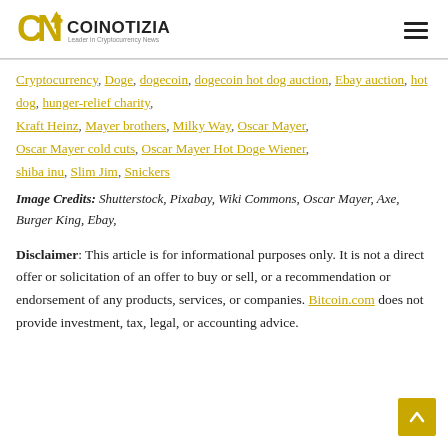COINOTIZIA - Leader in Cryptocurrency News
Cryptocurrency, Doge, dogecoin, dogecoin hot dog auction, Ebay auction, hot dog, hunger-relief charity, Kraft Heinz, Mayer brothers, Milky Way, Oscar Mayer, Oscar Mayer cold cuts, Oscar Mayer Hot Doge Wiener, shiba inu, Slim Jim, Snickers
Image Credits: Shutterstock, Pixabay, Wiki Commons, Oscar Mayer, Axe, Burger King, Ebay,
Disclaimer: This article is for informational purposes only. It is not a direct offer or solicitation of an offer to buy or sell, or a recommendation or endorsement of any products, services, or companies. Bitcoin.com does not provide investment, tax, legal, or accounting advice.